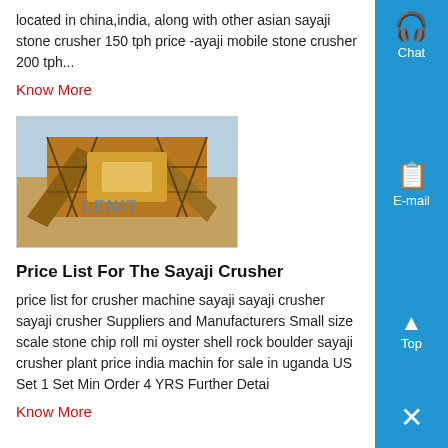located in china,india, along with other asian sayaji stone crusher 150 tph price -ayaji mobile stone crusher 200 tph...
Know More
[Figure (photo): Outdoor photo of a large stone crusher machine/plant with scaffolding and machinery, with LENIT watermark overlay]
Price List For The Sayaji Crusher
price list for crusher machine sayaji sayaji crusher sayaji crusher Suppliers and Manufacturers Small size scale stone chip roll mi oyster shell rock boulder sayaji crusher plant price india machin for sale in uganda US Set 1 Set Min Order 4 YRS Further Detai
Know More